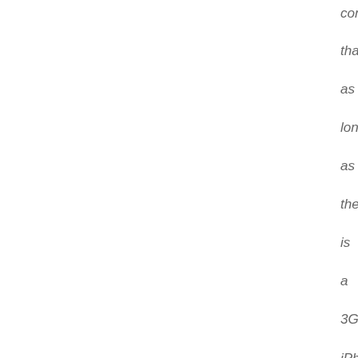cor
tha
as
lon
as
the
is
a
3G
iPh
this
Sp
or
Su
the
Ap
wil
b